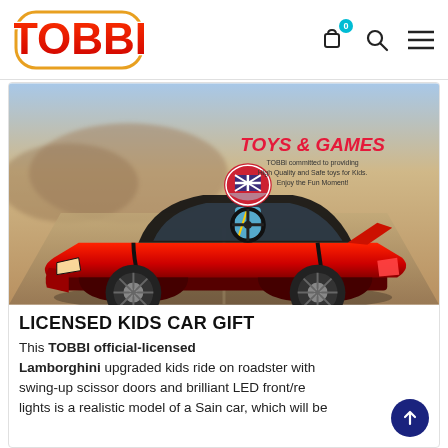TOBBI — Toys & Games
[Figure (photo): Child wearing a helmet riding a red Lamborghini-styled kids electric ride-on car. Text overlay on right side: 'TOYS & GAMES — TOBBi committed to providing High Quality and Safe toys for Kids. Enjoy the Fun Moment!']
LICENSED KIDS CAR GIFT
This TOBBI official-licensed Lamborghini upgraded kids ride on roadster with swing-up scissor doors and brilliant LED front/rear lights is a realistic model of a Sain car, which will be